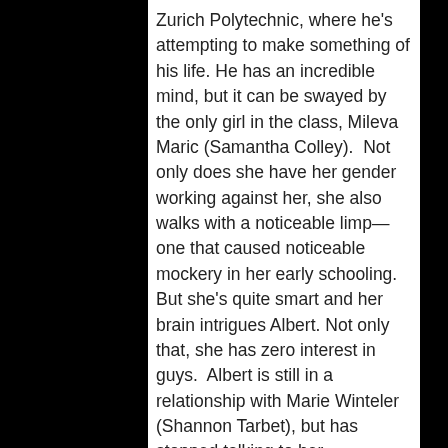Zurich Polytechnic, where he's attempting to make something of his life. He has an incredible mind, but it can be swayed by the only girl in the class, Mileva Maric (Samantha Colley).  Not only does she have her gender working against her, she also walks with a noticeable limp—one that caused noticeable mockery in her early schooling. But she's quite smart and her brain intrigues Albert. Not only that, she has zero interest in guys.  Albert is still in a relationship with Marie Winteler (Shannon Tarbet), but has stopped talking to her completely, noting that she's too simple-minded to have discussions